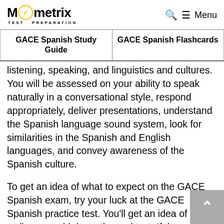Mometrix TEST PREPARATION  🔍 ☰ Menu
| GACE Spanish Study Guide | GACE Spanish Flashcards |
| --- | --- |
listening, speaking, and linguistics and cultures. You will be assessed on your ability to speak naturally in a conversational style, respond appropriately, deliver presentations, understand the Spanish language sound system, look for similarities in the Spanish and English languages, and convey awareness of the Spanish culture.
To get an idea of what to expect on the GACE Spanish exam, try your luck at the GACE Spanish practice test. You'll get an idea of how well you would do on the real test. If there are some areas in which you can